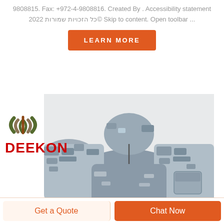9808815. Fax: +972-4-9808816. Created By . Accessibility statement 2022 כל הזכויות שמורות© Skip to content. Open toolbar ...
[Figure (other): Orange 'LEARN MORE' button]
[Figure (logo): DEEKON logo with olive/camo arc symbol and red DEEKON text]
[Figure (photo): Military combat shirt in grey/blue digital camouflage pattern with zip collar, shown from shoulders down]
[Figure (other): Bottom bar with 'Get a Quote' and 'Chat Now' buttons]